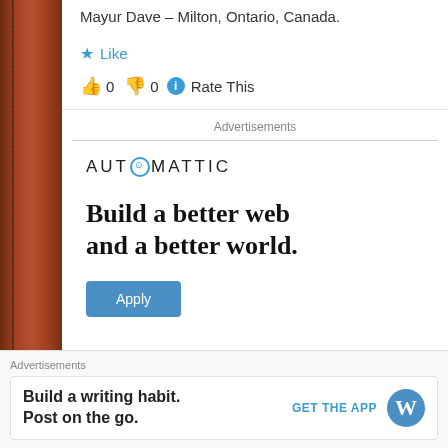Mayur Dave – Milton, Ontario, Canada.
★ Like
👍 0 👎 0 ℹ Rate This
Advertisements
[Figure (screenshot): Automattic advertisement: logo text 'AUTOMATTIC' with circular 'O', tagline 'Build a better web and a better world.' with an Apply button]
Advertisements
Build a writing habit. Post on the go.
GET THE APP